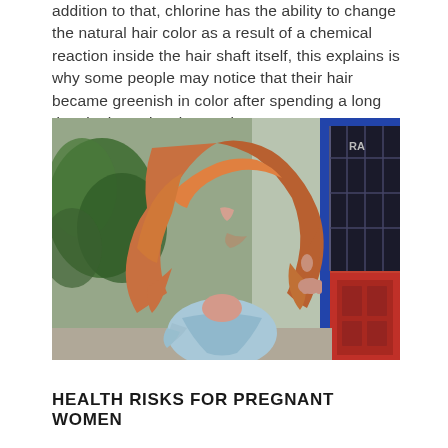addition to that, chlorine has the ability to change the natural hair color as a result of a chemical reaction inside the hair shaft itself, this explains is why some people may notice that their hair became greenish in color after spending a long time in the swimming pool.
[Figure (photo): A woman with long wavy red/auburn hair, wearing a light blue ruffled top, posing outdoors in front of a building with a red door and blue window frame.]
HEALTH RISKS FOR PREGNANT WOMEN
...